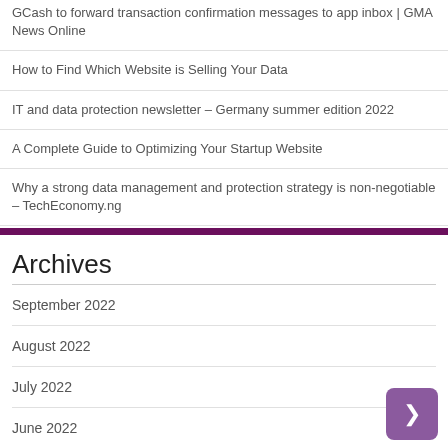GCash to forward transaction confirmation messages to app inbox | GMA News Online
How to Find Which Website is Selling Your Data
IT and data protection newsletter – Germany summer edition 2022
A Complete Guide to Optimizing Your Startup Website
Why a strong data management and protection strategy is non-negotiable – TechEconomy.ng
Archives
September 2022
August 2022
July 2022
June 2022
May 2022